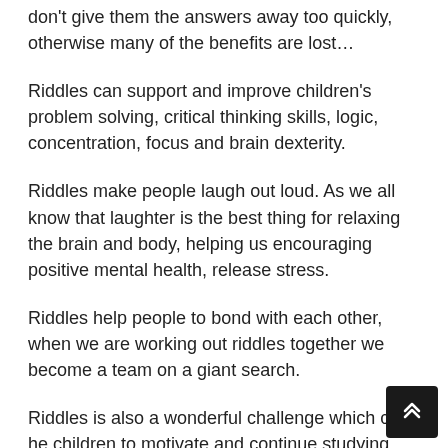don't give them the answers away too quickly, otherwise many of the benefits are lost…
Riddles can support and improve children's problem solving, critical thinking skills, logic, concentration, focus and brain dexterity.
Riddles make people laugh out loud. As we all know that laughter is the best thing for relaxing the brain and body, helping us encouraging positive mental health, release stress.
Riddles help people to bond with each other, when we are working out riddles together we become a team on a giant search.
Riddles is also a wonderful challenge which can help children to motivate and continue studying and